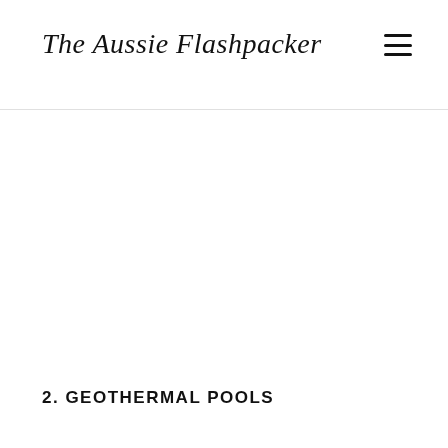The Aussie Flashpacker
[Figure (photo): Large image area, mostly white/blank in this view]
2. GEOTHERMAL POOLS